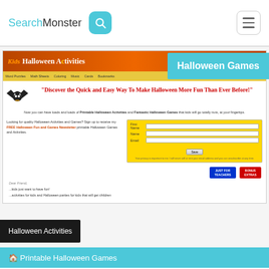SearchMonster [search icon] [hamburger menu]
[Figure (screenshot): Screenshot of Kids Halloween Activities website showing 'Discover the Quick and Easy Way To Make Halloween More Fun Than Ever Before!' headline with bat graphic, sign-up form, and Halloween-themed content]
Halloween Games
Halloween Activities
Printable Halloween Games
Kids Halloween Activities – Halloween